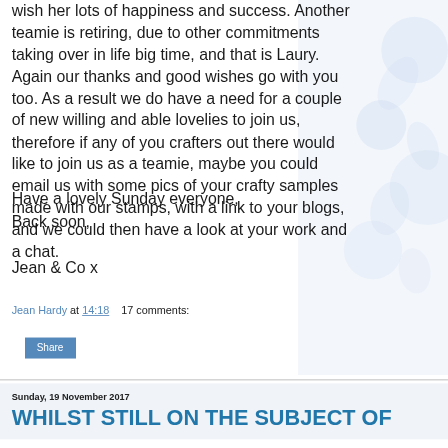wish her lots of happiness and success. Another teamie is retiring, due to other commitments taking over in life big time, and that is Laury. Again our thanks and good wishes go with you too. As a result we do have a need for a couple of new willing and able lovelies to join us, therefore if any of you crafters out there would like to join us as a teamie, maybe you could email us with some pics of your crafty samples made with our stamps, with a link to your blogs, and we could then have a look at your work and a chat.
Have a lovely Sunday everyone,
Back soon,

Jean & Co x
Jean Hardy at 14:18    17 comments:
Share
Sunday, 19 November 2017
WHILST STILL ON THE SUBJECT OF